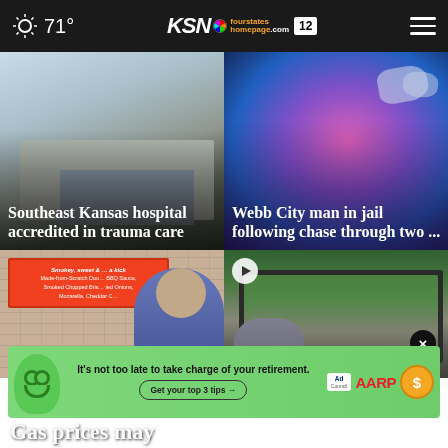71° KSN NBC fourstates homepage.com 12
[Figure (photo): Southeast Kansas hospital building exterior with blue sky]
Southeast Kansas hospital accredited in trauma care
[Figure (photo): Thermal/infrared police light image, blue and pink tones]
Webb City man in jail following chase through two ...
[Figure (photo): Man in striped shirt at restaurant with red menu sign]
[Figure (photo): Person at laptop/computer setup with sports broadcast on screen, play button overlay]
[Figure (photo): AARP advertisement banner: It's not too late to take charge of your retirement. Get your top 3 tips.]
Gas prices may